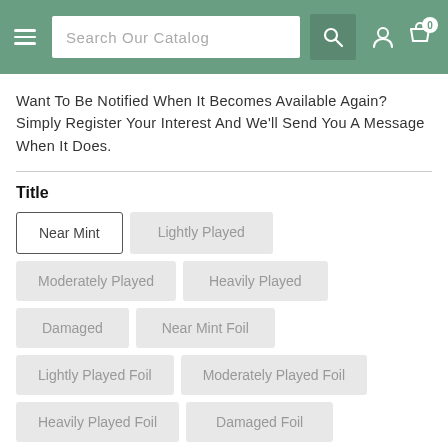Search Our Catalog [navigation bar with search, account, cart icons]
Want To Be Notified When It Becomes Available Again? Simply Register Your Interest And We'll Send You A Message When It Does.
Title
Near Mint (selected)
Lightly Played
Moderately Played
Heavily Played
Damaged
Near Mint Foil
Lightly Played Foil
Moderately Played Foil
Heavily Played Foil
Damaged Foil
Units